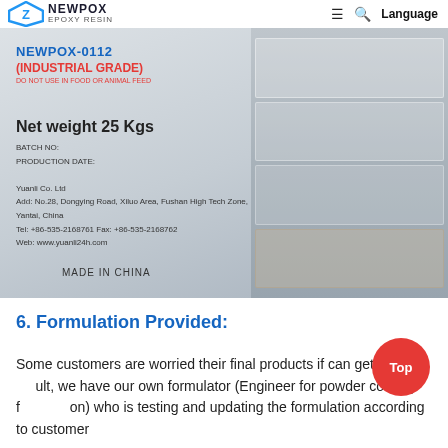NEWPOX EPOXY RESIN — Language
[Figure (photo): Warehouse photo showing bags of NEWPOX-0112 (Industrial Grade) epoxy resin, net weight 25 Kgs, Made in China, stacked on pallets wrapped in plastic]
6. Formulation Provided:
Some customers are worried their final products if can get best result, we have our own formulator (Engineer for powder coating formulation) who is testing and updating the formulation according to customer